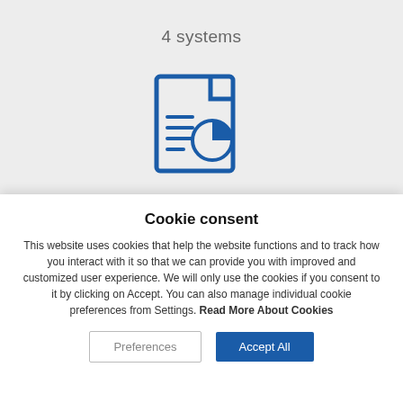4 systems
[Figure (illustration): Blue icon of a document page with a pie chart and list lines on it]
18 million documents
Cookie consent
This website uses cookies that help the website functions and to track how you interact with it so that we can provide you with improved and customized user experience. We will only use the cookies if you consent to it by clicking on Accept. You can also manage individual cookie preferences from Settings. Read More About Cookies